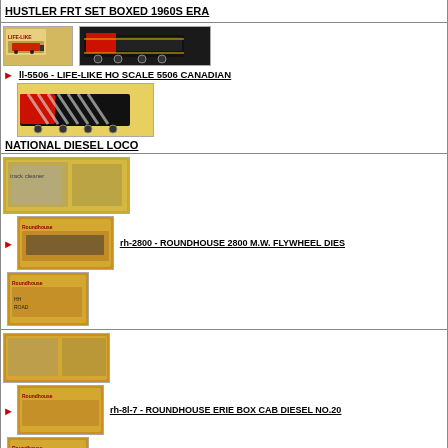HUSTLER FRT SET BOXED 1960S ERA
[Figure (photo): Life-Like boxed set and Canadian National diesel locomotive images]
ll-5506 - LIFE-LIKE HO SCALE 5506 CANADIAN NATIONAL DIESEL LOCO
[Figure (photo): Roundhouse 2800 M.W. Flywheel diesel track cleaner car no. 371 - multiple box and product images]
rh-2800 - ROUNDHOUSE 2800 M.W. FLYWHEEL DIESEL TRACK CLEANER CAR NO. 371
[Figure (photo): Roundhouse Erie Box Cab Diesel No.20 - box and product images]
rh-8l-7 - ROUNDHOUSE ERIE BOX CAB DIESEL NO.20 MODEL